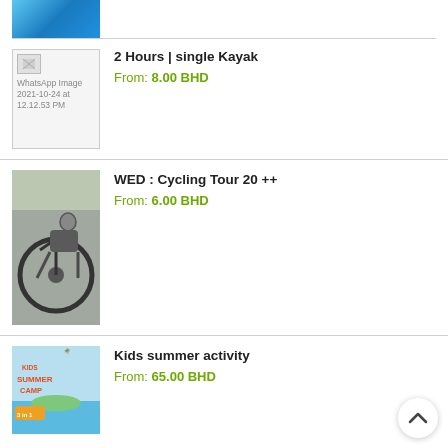[Figure (photo): Blue water/ocean image at top of page (partial view)]
[Figure (photo): Broken/placeholder WhatsApp image icon with text: WhatsApp Image 2021-10-24 at 12.12.53 PM]
2 Hours | single Kayak
From: 8.00 BHD
[Figure (photo): Photo of a person sitting next to a bicycle wheel, wearing a helmet]
WED : Cycling Tour 20 ++
From: 6.00 BHD
[Figure (illustration): Kids Summer Camp promotional image showing Kids Summer Game graphic with 3 in 1 label]
Kids summer activity
From: 65.00 BHD